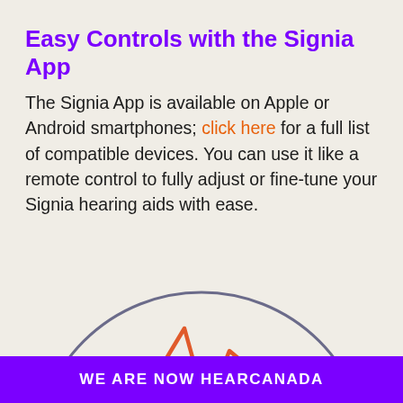Easy Controls with the Signia App
The Signia App is available on Apple or Android smartphones; click here for a full list of compatible devices. You can use it like a remote control to fully adjust or fine-tune your Signia hearing aids with ease.
[Figure (illustration): Partial circle outline (dark gray/purple stroke) with an orange heartbeat/pulse waveform icon and an orange rectangle/phone outline inside, partially visible at bottom of page]
WE ARE NOW HEARCANADA